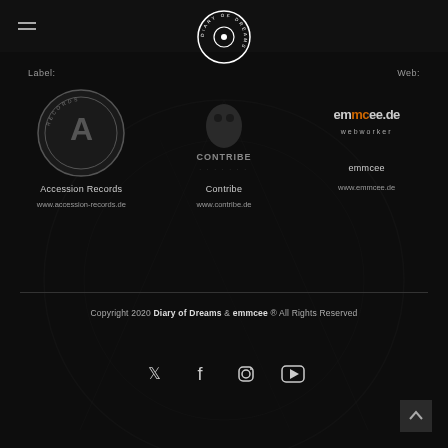[Figure (logo): Diary of Dreams circular logo in white on dark background, centered at top]
Label:
Web:
[Figure (logo): Accession Records circular badge logo in dark gray]
Accession Records
www.accession-records.de
[Figure (logo): Contribe logo with character and stylized text]
Contribe
www.contribe.de
[Figure (logo): emmcee.de webworker logo in orange and gray text]
emmcee
www.emmcee.de
Copyright 2020 Diary of Dreams & emmcee ® All Rights Reserved
[Figure (illustration): Social media icons: Twitter, Facebook, Instagram, YouTube]